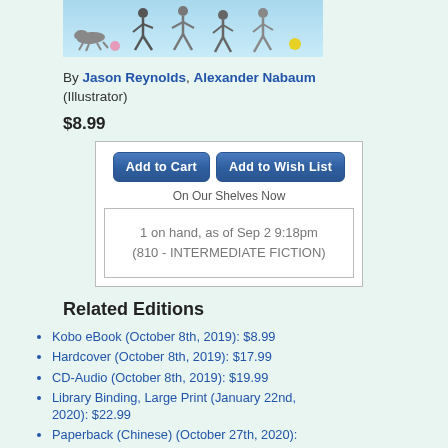[Figure (illustration): Book cover art showing figures running and a dog, light blue background]
By Jason Reynolds, Alexander Nabaum (Illustrator)
$8.99
Add to Cart | Add to Wish List
On Our Shelves Now
1 on hand, as of Sep 2 9:18pm (810 - INTERMEDIATE FICTION)
Related Editions
Kobo eBook (October 8th, 2019): $8.99
Hardcover (October 8th, 2019): $17.99
CD-Audio (October 8th, 2019): $19.99
Library Binding, Large Print (January 22nd, 2020): $22.99
Paperback (Chinese) (October 27th, 2020): $38.50